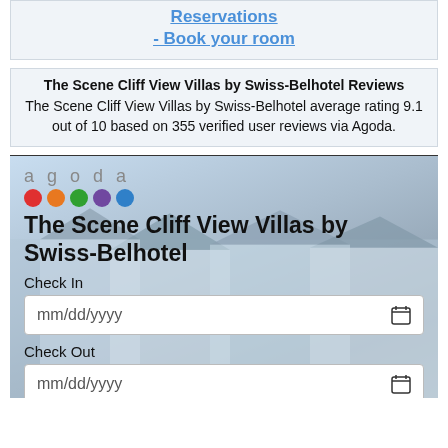Reservations
- Book your room
The Scene Cliff View Villas by Swiss-Belhotel Reviews
The Scene Cliff View Villas by Swiss-Belhotel average rating 9.1 out of 10 based on 355 verified user reviews via Agoda.
[Figure (screenshot): Agoda hotel booking widget showing The Scene Cliff View Villas by Swiss-Belhotel with Check In and Check Out date input fields, agoda logo with colored dots, set against a hotel background image.]